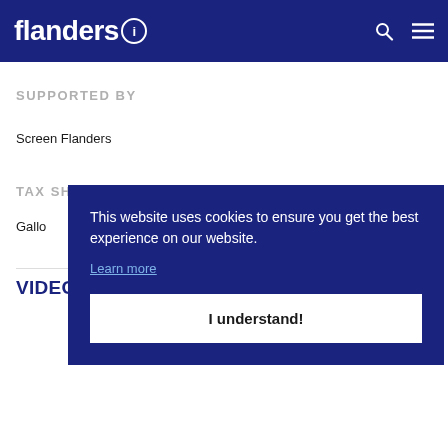flanders i
SUPPORTED BY
Screen Flanders
TAX SHELTER
Gallo
This website uses cookies to ensure you get the best experience on our website.
Learn more
I understand!
VIDEOS & IMAGES